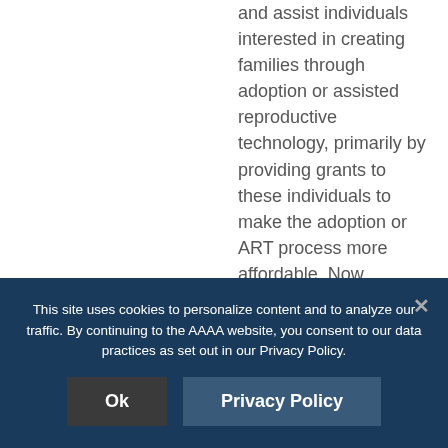and assist individuals interested in creating families through adoption or assisted reproductive technology, primarily by providing grants to these individuals to make the adoption or ART process more affordable. Now
This site uses cookies to personalize content and to analyze our traffic. By continuing to the AAAA website, you consent to our data practices as set out in our Privacy Policy.
Ok
Privacy Policy